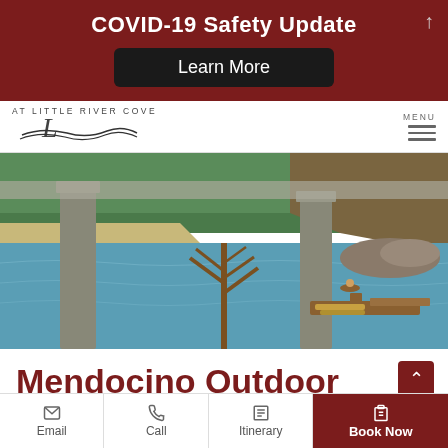COVID-19 Safety Update
Learn More
[Figure (logo): Little River Cove logo with wave/script design]
MENU
[Figure (photo): Outdoor river scene showing bridge pylons, blue-green water, a dock with kayaks, and a wooden sculpture in foreground, with trees and sandy shore in background]
Mendocino Outdoor
Email
Call
Itinerary
Book Now